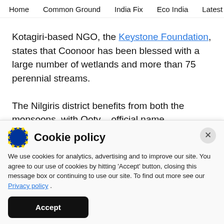Home   Common Ground   India Fix   Eco India   Latest   Th
Kotagiri-based NGO, the Keystone Foundation, states that Coonoor has been blessed with a large number of wetlands and more than 75 perennial streams.
The Nilgiris district benefits from both the monsoons, with Ooty – official name Udhagamandalam – and Cudalur getting more rains
Cookie policy
We use cookies for analytics, advertising and to improve our site. You agree to our use of cookies by hitting 'Accept' button, closing this message box or continuing to use our site. To find out more see our Privacy policy .
Accept